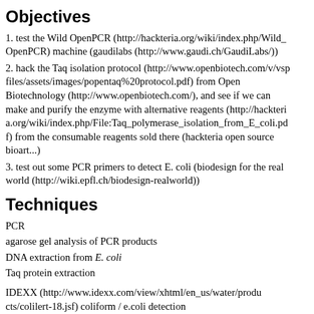Objectives
1. test the Wild OpenPCR (http://hackteria.org/wiki/index.php/Wild_OpenPCR) machine (gaudilabs (http://www.gaudi.ch/GaudiLabs/))
2. hack the Taq isolation protocol (http://www.openbiotech.com/v/vsp files/assets/images/popentaq%20protocol.pdf) from Open Biotechnology (http://www.openbiotech.com/), and see if we can make and purify the enzyme with alternative reagents (http://hackteria.org/wiki/index.php/File:Taq_polymerase_isolation_from_E_coli.pdf) from the consumable reagents sold there (hackteria open source bioart...)
3. test out some PCR primers to detect E. coli (biodesign for the real world (http://wiki.epfl.ch/biodesign-realworld))
Techniques
PCR
agarose gel analysis of PCR products
DNA extraction from E. coli
Taq protein extraction
IDEXX (http://www.idexx.com/view/xhtml/en_us/water/products/colilert-18.jsf) coliform / e.coli detection